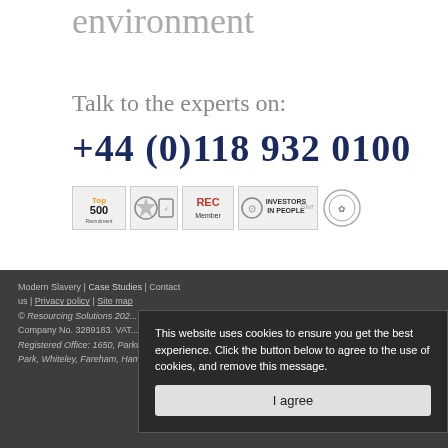environment
Talk to the experts on:
+44 (0)118 932 0100
[Figure (logo): Row of certification logos: Top 500, quality/safety marks, REC Member, Investors in People Silver, and another award logo]
Modern Slavery | Case Studies | Contact us | Privacy policy | Site map
© Resourcing Solutions 202... All rights reserved.
Company No. 3289183. VAT...
Registered Office: 1650, Parkway, Solent Business Park, Whiteley, Fareham, Hampshire, PO15 7AF
This website uses cookies to ensure you get the best experience. Click the button below to agree to the use of cookies, and remove this message.
I agree